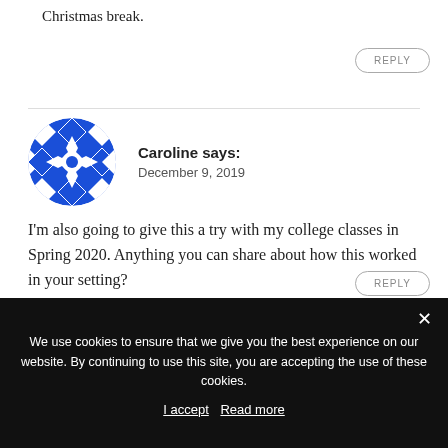Christmas break.
REPLY
Caroline says: December 9, 2019
I'm also going to give this a try with my college classes in Spring 2020. Anything you can share about how this worked in your setting?
REPLY
We use cookies to ensure that we give you the best experience on our website. By continuing to use this site, you are accepting the use of these cookies.
I accept  Read more